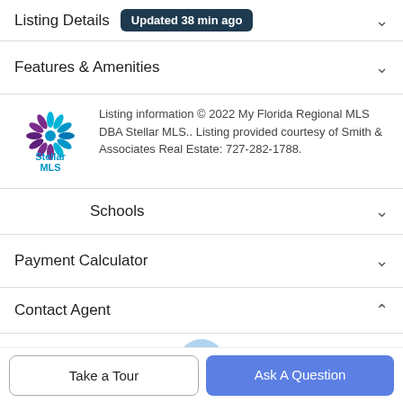Listing Details — Updated 38 min ago
Features & Amenities
[Figure (logo): Stellar MLS logo with starburst icon in teal and purple, and text 'Stellar MLS' in teal/blue below]
Listing information © 2022 My Florida Regional MLS DBA Stellar MLS.. Listing provided courtesy of Smith & Associates Real Estate: 727-282-1788.
Schools
Payment Calculator
Contact Agent
[Figure (photo): Partial agent headshot photo in a circle]
Michael C...
Take a Tour
Ask A Question